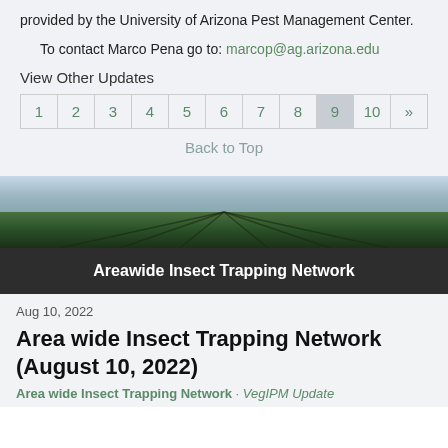provided by the University of Arizona Pest Management Center.
To contact Marco Pena go to: marcop@ag.arizona.edu
View Other Updates
| 1 | 2 | 3 | 4 | 5 | 6 | 7 | 8 | 9 | 10 | » |
| --- | --- | --- | --- | --- | --- | --- | --- | --- | --- | --- |
Back to Top
[Figure (photo): Agricultural field with rows of crops and sky in background]
Areawide Insect Trapping Network
Aug 10, 2022
Area wide Insect Trapping Network (August 10, 2022)
Area wide Insect Trapping Network · VegIPM Update